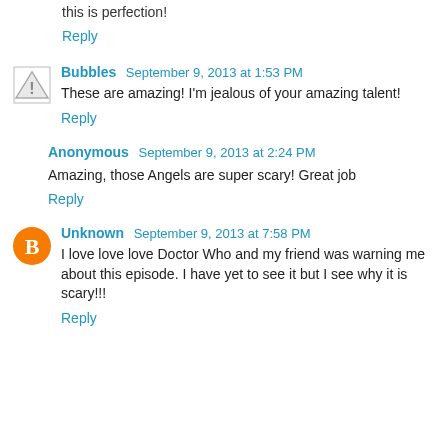this is perfection!
Reply
Bubbles  September 9, 2013 at 1:53 PM
These are amazing! I'm jealous of your amazing talent!
Reply
Anonymous  September 9, 2013 at 2:24 PM
Amazing, those Angels are super scary! Great job
Reply
Unknown  September 9, 2013 at 7:58 PM
I love love love Doctor Who and my friend was warning me about this episode. I have yet to see it but I see why it is scary!!!
Reply